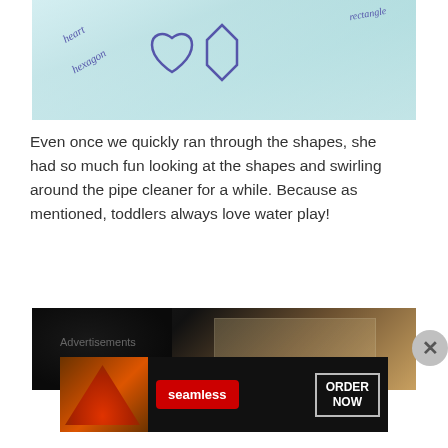[Figure (photo): Close-up photo of a glass container with shapes drawn on it including a heart, hexagon, and rectangle with purple marker text labeling each shape]
Even once we quickly ran through the shapes, she had so much fun looking at the shapes and swirling around the pipe cleaner for a while. Because as mentioned, toddlers always love water play!
[Figure (photo): Photo of a child looking down at a glass container on a wooden surface]
Advertisements
[Figure (screenshot): Seamless advertisement banner with pizza image, red Seamless logo, and ORDER NOW button on dark background]